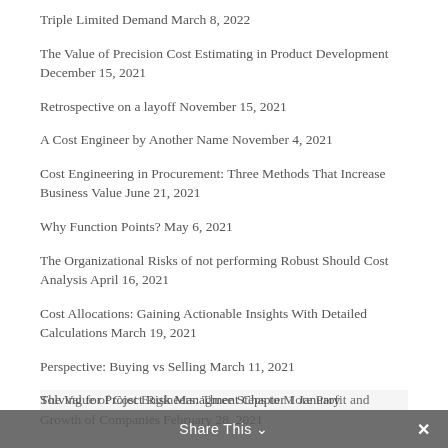Triple Limited Demand March 8, 2022
The Value of Precision Cost Estimating in Product Development December 15, 2021
Retrospective on a layoff November 15, 2021
A Cost Engineer by Another Name November 4, 2021
Cost Engineering in Procurement: Three Methods That Increase Business Value June 21, 2021
Why Function Points? May 6, 2021
The Organizational Risks of not performing Robust Should Cost Analysis April 16, 2021
Cost Allocations: Gaining Actionable Insights With Detailed Calculations March 19, 2021
Perspective: Buying vs Selling March 11, 2021
The Value of Cost Engineers: Three Steps to More Profit and Growth of Companies February 28, 2021
Solving for Project Risk Managment Chapter 1 January
Share This ∨  ✕